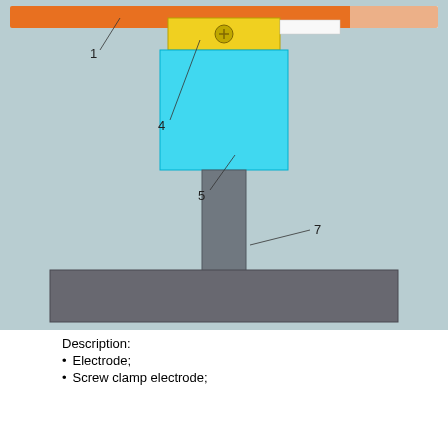[Figure (engineering-diagram): Technical engineering diagram showing a cross-section of an electrode assembly. Components labeled 1, 4, 5, 7. Component 1: orange horizontal electrode bar at top. Component 4: yellow screw clamp electrode block. Component 5: cyan/blue fluid or component block below the clamp. Component 7: gray vertical stem/rod connecting to a gray horizontal base plate. Leader lines point to each labeled component.]
Description:
Electrode;
Screw clamp electrode;